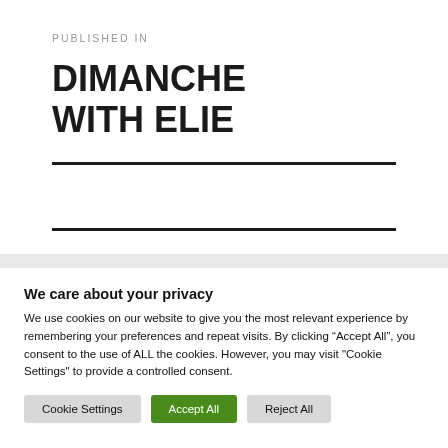PUBLISHED IN
DIMANCHE WITH ELIE
We care about your privacy
We use cookies on our website to give you the most relevant experience by remembering your preferences and repeat visits. By clicking “Accept All”, you consent to the use of ALL the cookies. However, you may visit "Cookie Settings" to provide a controlled consent.